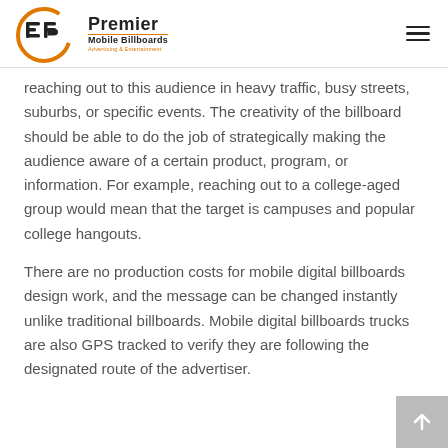Premier Mobile Billboards — Advertising & Entertainment
reaching out to this audience in heavy traffic, busy streets, suburbs, or specific events. The creativity of the billboard should be able to do the job of strategically making the audience aware of a certain product, program, or information. For example, reaching out to a college-aged group would mean that the target is campuses and popular college hangouts.
There are no production costs for mobile digital billboards design work, and the message can be changed instantly unlike traditional billboards. Mobile digital billboards trucks are also GPS tracked to verify they are following the designated route of the advertiser.